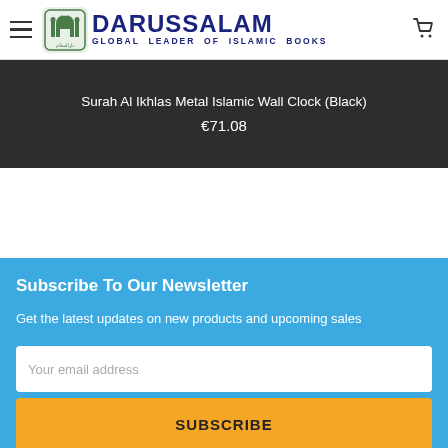DARUSSALAM — GLOBAL LEADER OF ISLAMIC BOOKS
Surah Al Ikhlas Metal Islamic Wall Clock (Black)
€71.08
Subscribe To Our Newsletter
Get the latest updates on new products and upcoming sales
Your email address
SUBSCRIBE